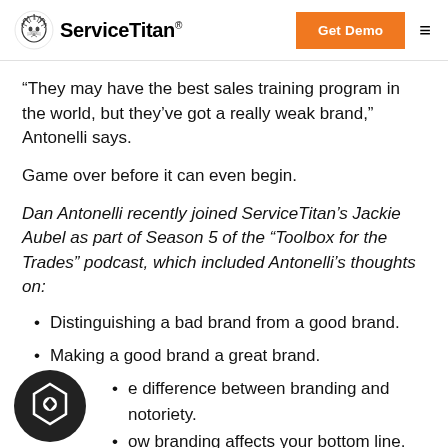ServiceTitan — Get Demo
“They may have the best sales training program in the world, but they’ve got a really weak brand,” Antonelli says.
Game over before it can even begin.
Dan Antonelli recently joined ServiceTitan’s Jackie Aubel as part of Season 5 of the “Toolbox for the Trades” podcast, which included Antonelli’s thoughts on:
Distinguishing a bad brand from a good brand.
Making a good brand a great brand.
The difference between branding and notoriety.
How branding affects your bottom line.